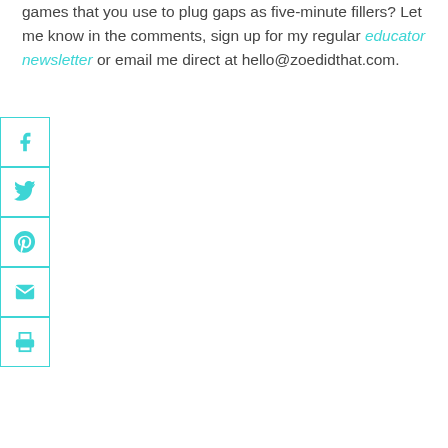games that you use to plug gaps as five-minute fillers? Let me know in the comments, sign up for my regular educator newsletter or email me direct at hello@zoedidthat.com.
[Figure (other): Vertical social share button bar with icons for Facebook, Twitter, Pinterest, Email, and Print, outlined in teal/cyan color]